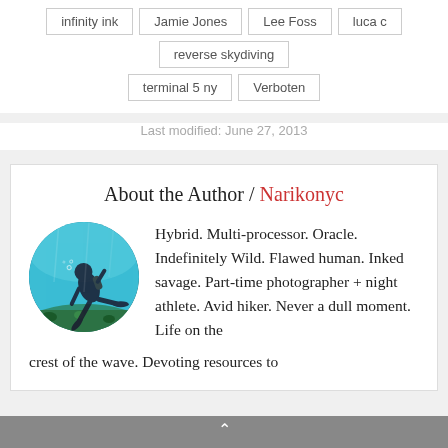infinity ink
Jamie Jones
Lee Foss
luca c
reverse skydiving
terminal 5 ny
Verboten
Last modified: June 27, 2013
About the Author / Narikonyc
[Figure (photo): Circular profile photo of a scuba diver underwater with coral reef below, teal/blue water background]
Hybrid. Multi-processor. Oracle. Indefinitely Wild. Flawed human. Inked savage. Part-time photographer + night athlete. Avid hiker. Never a dull moment. Life on the crest of the wave. Devoting resources to